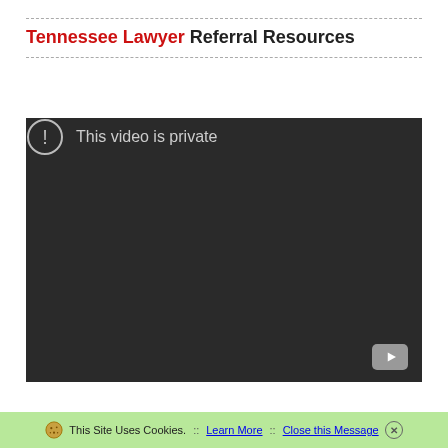Tennessee Lawyer Referral Resources
[Figure (screenshot): Embedded video player showing 'This video is private' message on a dark background, with a YouTube button in the bottom-right corner.]
This Site Uses Cookies. :: Learn More :: Close this Message ⊗